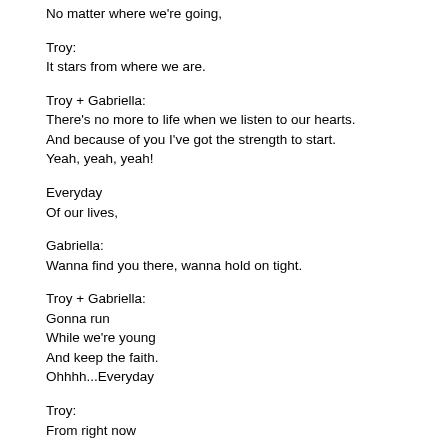No matter where we're going,
Troy:
It stars from where we are.
Troy + Gabriella:
There's no more to life when we listen to our hearts.
And because of you I've got the strength to start.
Yeah, yeah, yeah!
Everyday
Of our lives,
Gabriella:
Wanna find you there, wanna hold on tight.
Troy + Gabriella:
Gonna run
While we're young
And keep the faith.
Ohhhh...Everyday
Troy:
From right now
Troy + Gabriella:
Gonna use our voices and scream out loud
Take my hand;
Together we
Will celebrate,